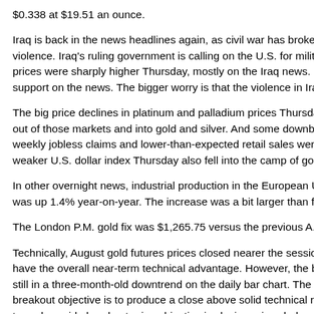$0.338 at $19.51 an ounce.
Iraq is back in the news headlines again, as civil war has broken out in violence. Iraq's ruling government is calling on the U.S. for military aid, prices were sharply higher Thursday, mostly on the Iraq news. Gold als support on the news. The bigger worry is that the violence in Iraq could
The big price declines in platinum and palladium prices Thursday could out of those markets and into gold and silver. And some downbeat U.S. weekly jobless claims and lower-than-expected retail sales were also fr weaker U.S. dollar index Thursday also fell into the camp of gold marke
In other overnight news, industrial production in the European Union ro was up 1.4% year-on-year. The increase was a bit larger than forecast.
The London P.M. gold fix was $1,265.75 versus the previous A.M. fixing
Technically, August gold futures prices closed nearer the session high T have the overall near-term technical advantage. However, the bulls are still in a three-month-old downtrend on the daily bar chart. The gold bul breakout objective is to produce a close above solid technical resistanc term downside breakout price objective is closing prices below solid tec $1,250.10. First resistance is seen at Thursday's high of $1,274.60 and